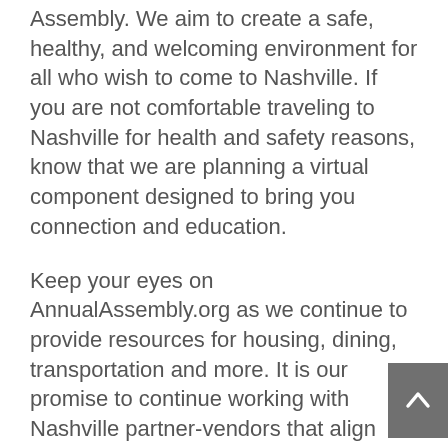Assembly. We aim to create a safe, healthy, and welcoming environment for all who wish to come to Nashville. If you are not comfortable traveling to Nashville for health and safety reasons, know that we are planning a virtual component designed to bring you connection and education.
Keep your eyes on AnnualAssembly.org as we continue to provide resources for housing, dining, transportation and more. It is our promise to continue working with Nashville partner-vendors that align with AAHPM’s values and DEI strategic goals.
In addition, we continue to monitor the COVID pandemic, including vaccination policies and rates across the country and in the Nashville area.  We will also provide updates on this at